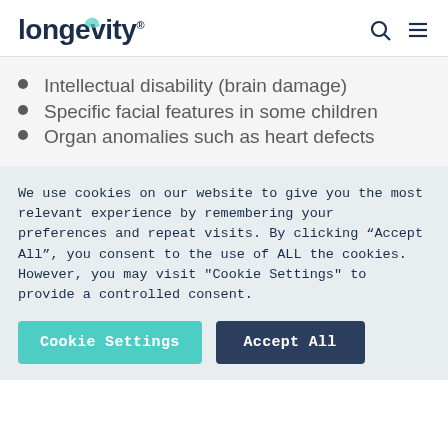longevity
Intellectual disability (brain damage)
Specific facial features in some children
Organ anomalies such as heart defects
We use cookies on our website to give you the most relevant experience by remembering your preferences and repeat visits. By clicking “Accept All”, you consent to the use of ALL the cookies. However, you may visit "Cookie Settings" to provide a controlled consent.
Cookie Settings | Accept All